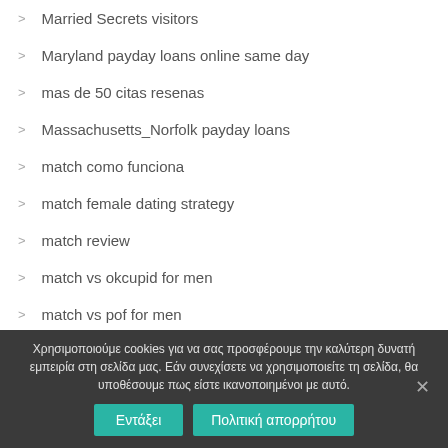Married Secrets visitors
Maryland payday loans online same day
mas de 50 citas resenas
Massachusetts_Norfolk payday loans
match como funciona
match female dating strategy
match review
match vs okcupid for men
match vs pof for men
Χρησιμοποιούμε cookies για να σας προσφέρουμε την καλύτερη δυνατή εμπειρία στη σελίδα μας. Εάν συνεχίσετε να χρησιμοποιείτε τη σελίδα, θα υποθέσουμε πως είστε ικανοποιημένοι με αυτό.
Εντάξει | Πολιτική απορρήτου